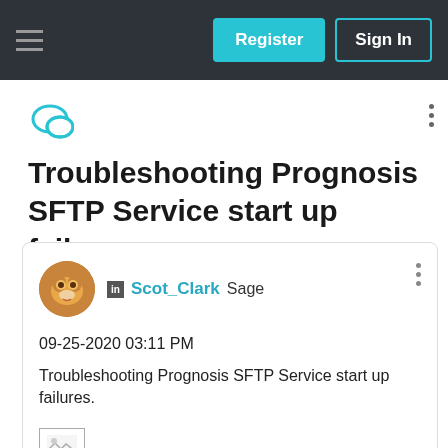Register  Sign In
Troubleshooting Prognosis SFTP Service start up failures.
Scot_Clark Sage
09-25-2020 03:11 PM
Troubleshooting Prognosis SFTP Service start up failures.
[Figure (photo): Image placeholder icon (landscape photo placeholder)]